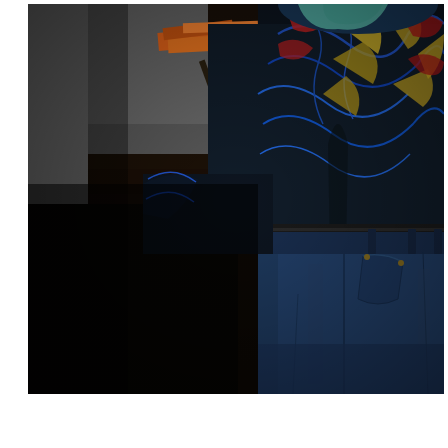[Figure (photo): A photograph showing the torso and lower body of a person wearing a colorful patterned shirt (dark background with blue, yellow, and red abstract/floral patterns) and dark blue denim jeans with visible belt loops and front pocket. The person appears to be standing near a dark wooden surface (desk or table). In the upper background, orange papers or folders are visible on the dark surface. The image is cropped — the person's head and legs below the thigh are not visible.]